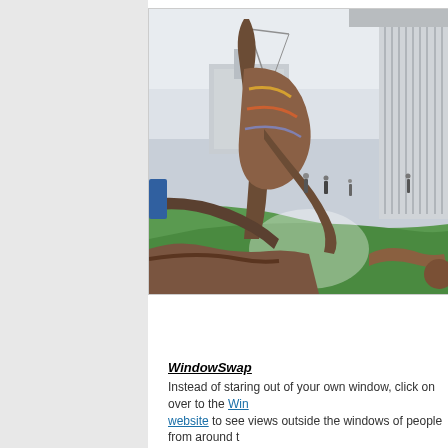[Figure (photo): Outdoor photograph showing large sculptural installations of human-like figures lying and kneeling on a green surface near a modern building. People are visible in the background. Industrial buildings and a crane are visible in the distance under an overcast sky.]
WindowSwap
Instead of staring out of your own window, click on over to the WindowSwap website to see views outside the windows of people from around t